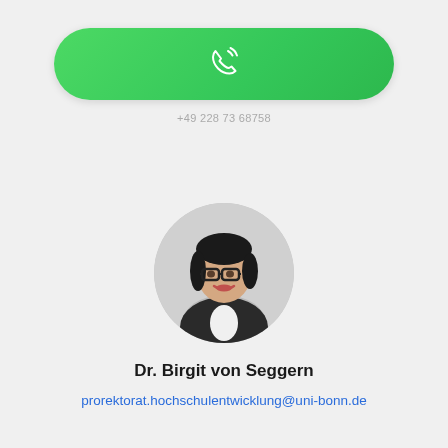[Figure (other): Green pill-shaped call button with a phone/ringing icon (white outline phone with signal waves) centered on it]
+49 228 73 68758
[Figure (photo): Circular cropped portrait photo of Dr. Birgit von Seggern, a woman with dark hair pulled back, wearing glasses and a black blazer with white shirt, smiling]
Dr. Birgit von Seggern
prorektorat.hochschulentwicklung@uni-bonn.de